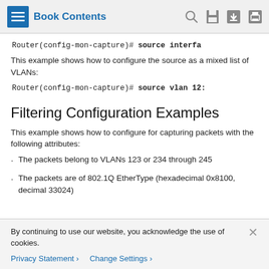Book Contents
Router(config-mon-capture)# source interfa
This example shows how to configure the source as a mixed list of VLANs:
Router(config-mon-capture)# source vlan 12:
Filtering Configuration Examples
This example shows how to configure for capturing packets with the following attributes:
The packets belong to VLANs 123 or 234 through 245
The packets are of 802.1Q EtherType (hexadecimal 0x8100, decimal 33024)
By continuing to use our website, you acknowledge the use of cookies.
Privacy Statement > Change Settings >